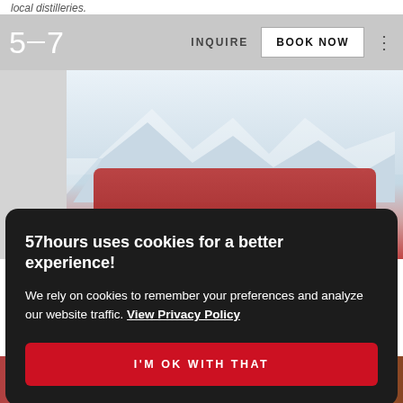local distilleries.
57  INQUIRE  BOOK NOW
[Figure (photo): Mountain scenery with snowy peaks and red outdoor gear/equipment in foreground]
57hours uses cookies for a better experience! We rely on cookies to remember your preferences and analyze our website traffic. View Privacy Policy
I'M OK WITH THAT
[Figure (photo): Bottom strip showing outdoor/adventure images]